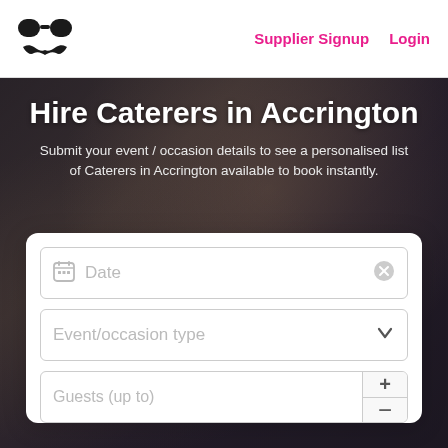Supplier Signup  Login
Hire Caterers in Accrington
Submit your event / occasion details to see a personalised list of Caterers in Accrington available to book instantly.
[Figure (screenshot): Web form with Date input field, Event/occasion type dropdown, and Guests (up to) number input with +/- controls]